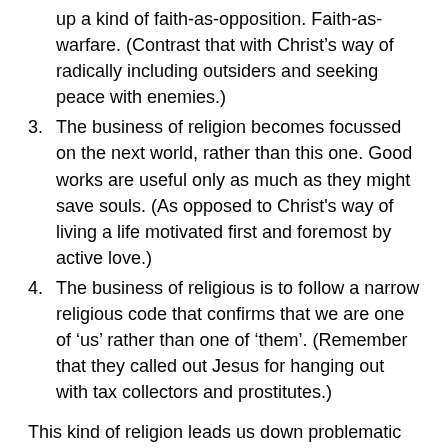up a kind of faith-as-opposition. Faith-as-warfare. (Contrast that with Christ’s way of radically including outsiders and seeking peace with enemies.)
3. The business of religion becomes focussed on the next world, rather than this one. Good works are useful only as much as they might save souls. (As opposed to Christ's way of living a life motivated first and foremost by active love.)
4. The business of religious is to follow a narrow religious code that confirms that we are one of ‘us’ rather than one of ‘them’. (Remember that they called out Jesus for hanging out with tax collectors and prostitutes.)
This kind of religion leads us down problematic paths- consider what is happening in the USA at the moment under president Trump. The good Chrsitian majority is solidly behind Trump, because he is seen as being ‘God’s